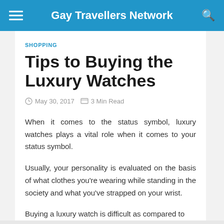Gay Travellers Network
SHOPPING
Tips to Buying the Luxury Watches
May 30, 2017   3 Min Read
When it comes to the status symbol, luxury watches plays a vital role when it comes to your status symbol.
Usually, your personality is evaluated on the basis of what clothes you're wearing while standing in the society and what you've strapped on your wrist.
Buying a luxury watch is difficult as compared to